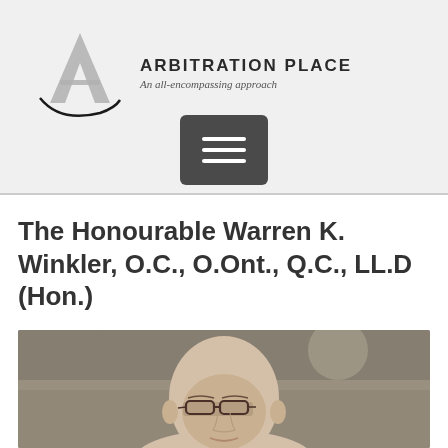[Figure (logo): Arbitration Place logo with stylized 'A' graphic and text 'ARBITRATION PLACE - An all-encompassing approach']
[Figure (other): Dark grey hamburger/menu button icon with three horizontal lines]
The Honourable Warren K. Winkler, O.C., O.Ont., Q.C., LL.D (Hon.)
[Figure (photo): Professional headshot photograph of an elderly bald man wearing glasses, shown from shoulders up against a blurred office background]